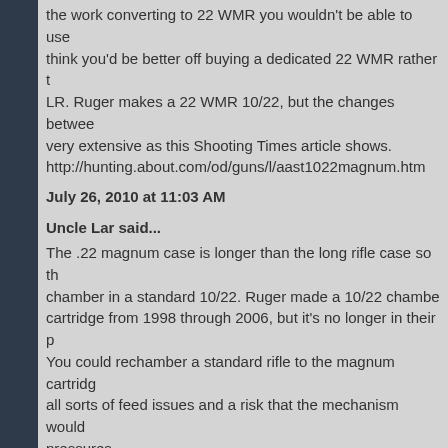the work converting to 22 WMR you wouldn't be able to use think you'd be better off buying a dedicated 22 WMR rather t LR. Ruger makes a 22 WMR 10/22, but the changes betwee very extensive as this Shooting Times article shows. http://hunting.about.com/od/guns/l/aast1022magnum.htm
July 26, 2010 at 11:03 AM
Uncle Lar said...
The .22 magnum case is longer than the long rifle case so th chamber in a standard 10/22. Ruger made a 10/22 chambe cartridge from 1998 through 2006, but it's no longer in their p You could rechamber a standard rifle to the magnum cartrid all sorts of feed issues and a risk that the mechanism would pressures. If you insist on experimenting, I highly suggest the old gunsm the rifle solidly to a car tire and pulling the trigger with a strin from any shrapnel that may ensue.
July 26, 2010 at 12:07 PM
1911A1 said...
I used to have a 22 mag. REALLY nice smallbore round. Unf